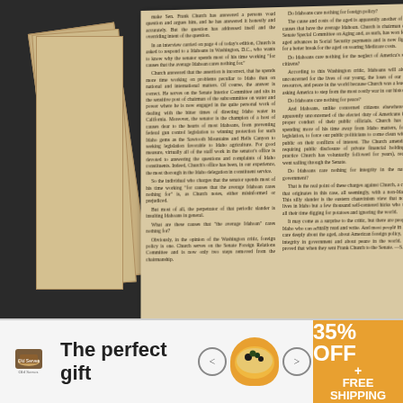[Figure (photo): Photograph of a newspaper clipping with two-column text layout on aged yellowish paper, placed on a dark background with stacked papers visible at left. The clipping discusses Senator Frank Church and Idaho constituents. A vertical italic caption 'Idaho's Columns' appears along the right edge.]
Do Idahoans care nothing for the senator's policy? ... It may come as a surprise to the critic, but there are people in Idaho who can actually read and write. And most people in Idaho care deeply about the aged, about American foreign policy, about integrity in government and about peace in the world. They proved that when they sent Frank Church to the Senate. —S.H.
[Figure (photo): Advertisement banner at bottom of screen: 'The perfect gift' with logo, food bowl image, navigation arrows, and a gold/orange discount box showing '35% OFF + FREE SHIPPING']